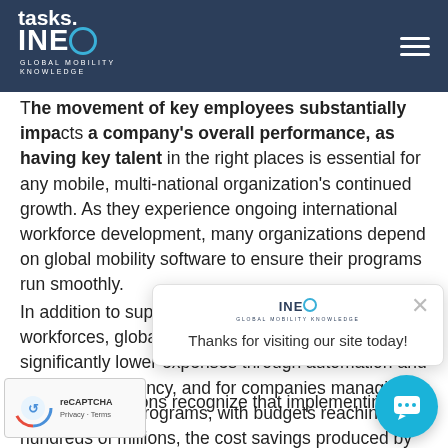INEO GLOBAL MOBILITY KNOWLEDGE
tasks. The movement of key employees substantially impacts a company's overall performance, as having key talent in the right places is essential for any mobile, multi-national organization's continued growth. As they experience ongoing international workforce development, many organizations depend on global mobility software to ensure their programs run smoothly.
In addition to supporting the growth of mobile workforces, global mobility software integration can significantly lower expenses through automation and increased efficiency, and for companies managing larger mobility programs, with budgets reaching into hundreds of millions, the cost savings produced by global mobility software implementation are a welcome addition to program budgets.
Most organizations recognize that implementing global
[Figure (screenshot): Popup notification: INEO logo at top, close button (x), text 'Thanks for visiting our site today!']
[Figure (other): reCAPTCHA badge with spinning icon and 'Privacy · Terms' text]
[Figure (other): Circular teal chat button with speech bubble icon]